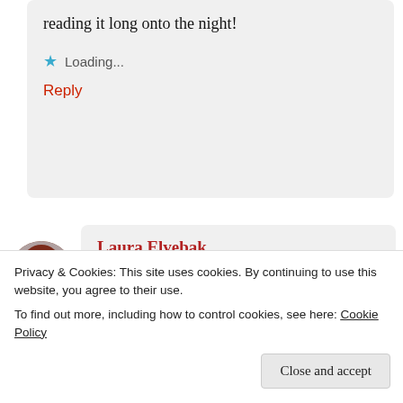reading it long onto the night!
Loading...
Reply
[Figure (photo): Circular avatar photo of a woman with red/auburn hair, wearing dark clothing, against a light background]
Laura Elvebak
March 13, 2021 at 12:40 pm
Your writing journey is fascinating, George. You plunged in wholeheartedly. I look
Privacy & Cookies: This site uses cookies. By continuing to use this website, you agree to their use.
To find out more, including how to control cookies, see here: Cookie Policy
Close and accept